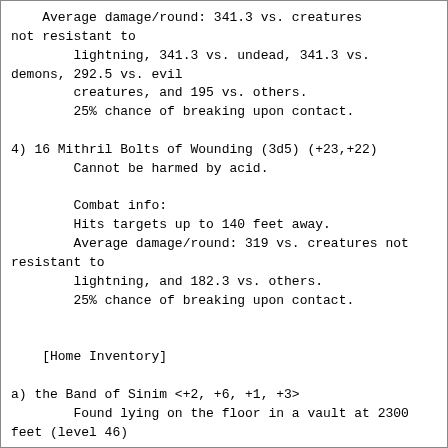Average damage/round: 341.3 vs. creatures not resistant to
    lightning, 341.3 vs. undead, 341.3 vs. demons, 292.5 vs. evil
    creatures, and 195 vs. others.
    25% chance of breaking upon contact.
4) 16 Mithril Bolts of Wounding (3d5) (+23,+22)
    Cannot be harmed by acid.

    Combat info:
    Hits targets up to 140 feet away.
    Average damage/round: 319 vs. creatures not resistant to
lighing, and 182.3 vs. others.
    25% chance of breaking upon contact.
[Home Inventory]
a) the Band of Sinim <+2, +6, +1, +3>
    Found lying on the floor in a vault at 2300 feet (level 46)

    +2 strength.
    +6 intelligence.
    +1 dexterity.
    +3 constitution.
    +3 speed.
    Provides resistance to acid, cold, poison,